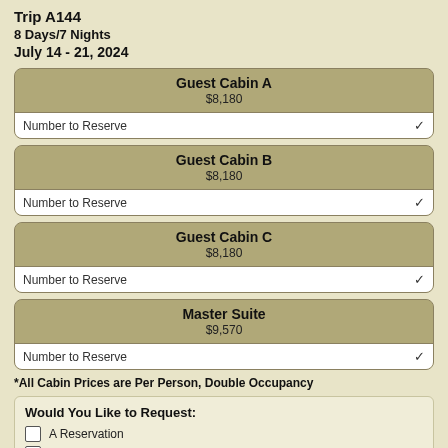Trip A144
8 Days/7 Nights
July 14 - 21, 2024
Guest Cabin A
$8,180
Number to Reserve
Guest Cabin B
$8,180
Number to Reserve
Guest Cabin C
$8,180
Number to Reserve
Master Suite
$9,570
Number to Reserve
*All Cabin Prices are Per Person, Double Occupancy
Would You Like to Request:
A Reservation
More Information